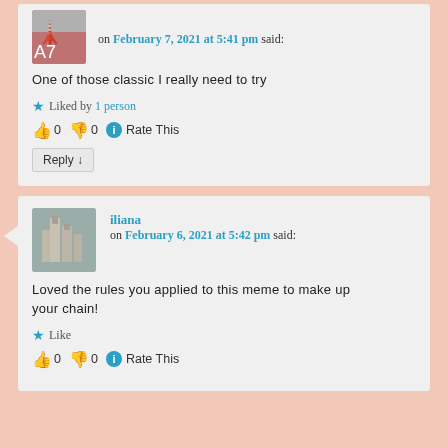on February 7, 2021 at 5:41 pm said:
One of those classic I really need to try
★ Liked by 1 person
👍 0 👎 0 ℹ Rate This
Reply ↓
iliana
on February 6, 2021 at 5:42 pm said:
Loved the rules you applied to this meme to make up your chain!
★ Like
👍 0 👎 0 ℹ Rate This